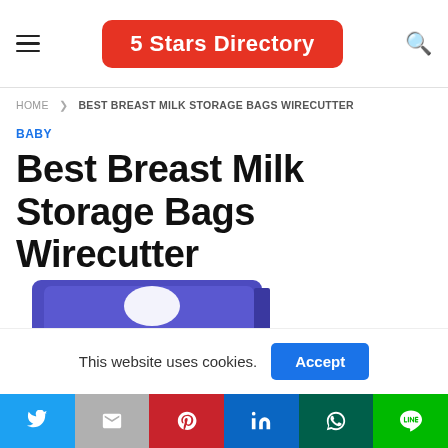5 Stars Directory
HOME > BEST BREAST MILK STORAGE BAGS WIRECUTTER
BABY
Best Breast Milk Storage Bags Wirecutter
[Figure (photo): Purple/blue product packaging box for breast milk storage bags, showing the top card with a hanger hole cutout and a flat bottom panel]
This website uses cookies. Accept
Social share bar: Twitter, Gmail, Pinterest, LinkedIn, WhatsApp, LINE